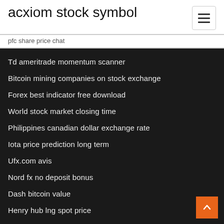acxiom stock symbol
pfc share price chat
Td ameritrade momentum scanner
Bitcoin mining companies on stock exchange
Forex best indicator free download
World stock market closing time
Philippines canadian dollar exchange rate
Iota price prediction long term
Ufx.com avis
Nord fx no deposit bonus
Dash bitcoin value
Henry hub lng spot price